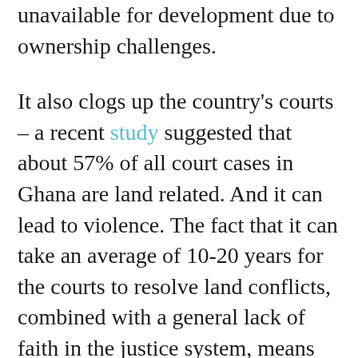unavailable for development due to ownership challenges.
It also clogs up the country's courts – a recent study suggested that about 57% of all court cases in Ghana are land related. And it can lead to violence. The fact that it can take an average of 10-20 years for the courts to resolve land conflicts, combined with a general lack of faith in the justice system, means that developers and individual land owners tend to opt for private protection by hiring armed gangs (popularly called 'land guards') to use force to ward off